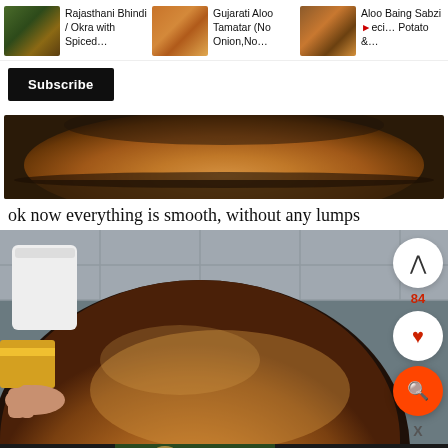[Figure (screenshot): Top bar with three recommended recipe video thumbnails: Rajasthani Bhindi / Okra with Spiced..., Gujarati Aloo Tamatar (No Onion, No...), Aloo Baing Sabzi Recipe Potato &...]
Rajasthani Bhindi / Okra with Spiced...
Gujarati Aloo Tamatar (No Onion,No...
Aloo Baing Sabzi Recipe Potato &...
Subscribe
[Figure (photo): Partial view from above of a large metal pot containing smooth brown liquid (curry/sauce) with no lumps]
ok now everything is smooth, without any lumps
[Figure (photo): Close up photo of a large bowl filled with smooth orange-brown spiced paste or batter, a white cup/container visible on the left being held by a hand, and a yellow container below left. Right side shows UI buttons: up arrow, 84 likes, heart, and orange search button with X below.]
[Figure (photo): Advertisement banner for 'The Resort' on Peacock streaming service with Sign Up Now button]